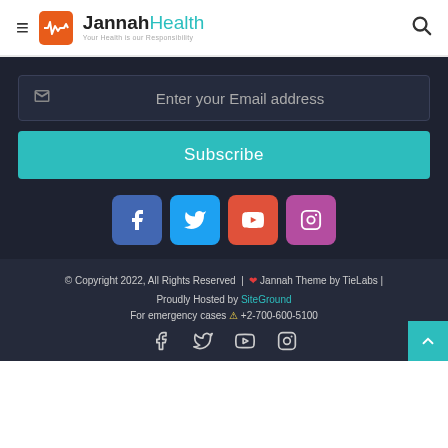Jannah Health — Your Health is our Responsibility
Enter your Email address
Subscribe
[Figure (infographic): Social media icons: Facebook, Twitter, YouTube, Instagram in colored square buttons]
© Copyright 2022, All Rights Reserved | ❤ Jannah Theme by TieLabs | Proudly Hosted by SiteGround
For emergency cases ⚠ +2-700-600-5100
[Figure (infographic): Footer social media icons: Facebook, Twitter, YouTube, Instagram (outline style)]